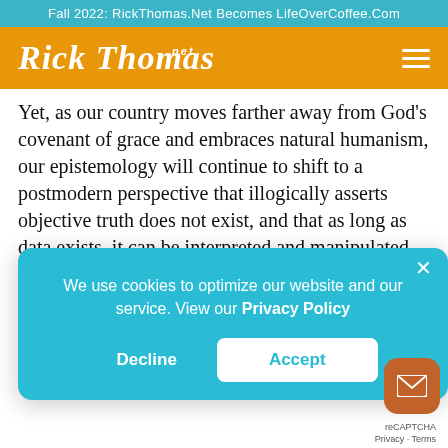Fall 2022: RickThomas.Net Becomes LifeOverCoffee.Com
[Figure (logo): Rick Thomas .net logo in white italic script on orange header bar with hamburger menu icon]
Yet, as our country moves farther away from God's covenant of grace and embraces natural humanism, our epistemology will continue to shift to a postmodern perspective that illogically asserts objective truth does not exist, and that as long as data exists, it can be interpreted and manipulated according to
We use cookies to optimize our website and our service. View our Privacy Policy
Decline
Accept
reCAPTCHA
Privacy · Terms